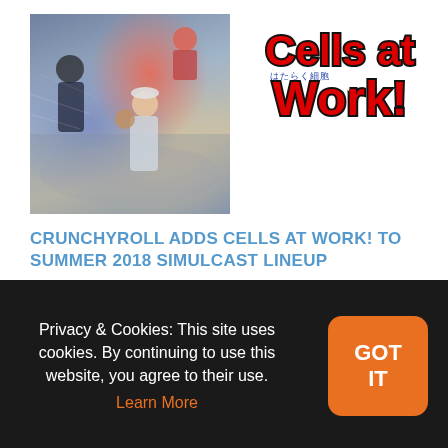[Figure (illustration): Anime key art for 'Cells at Work!' showing animated characters including a girl in white uniform, a figure in black, and others in dynamic action poses against a rocky/crumbling background with blue tones]
[Figure (logo): Cells at Work! (Hataraku Saibou) anime logo in bold red and black lettering with Japanese subtitle text]
CRUNCHYROLL ADDS CELLS AT WORK! TO SUMMER 2018 SIMULCAST LINEUP
by Samantha Ferreira | Jun 20, 2018 | News Reporting | 0 💬 |
★★★★★
It's really fascinating, how the body functions… wait.
Privacy & Cookies: This site uses cookies. By continuing to use this website, you agree to their use. Learn More